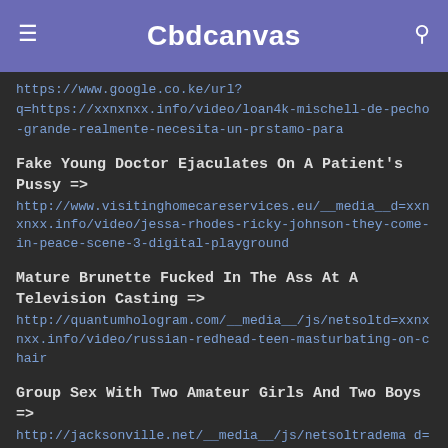Cbdcanvas
https://www.google.co.ke/url?q=https://xxnxnxx.info/video/loan4k-mischell-de-pecho-grande-realmente-necesita-un-prstamo-para
Fake Young Doctor Ejaculates On A Patient's Pussy => http://www.visitinghomecareservices.eu/__media__d=xxnxnxx.info/video/jessa-rhodes-ricky-johnson-they-come-in-peace-scene-3-digital-playground
Mature Brunette Fucked In The Ass At A Television Casting => http://quantumhologram.com/__media__/js/netsoltd=xxnxnxx.info/video/russian-redhead-teen-masturbating-on-chair
Group Sex With Two Amateur Girls And Two Boys => http://jacksonville.net/__media__/js/netsoltradema d=xxnxnxx.info/video/puke-slut-3